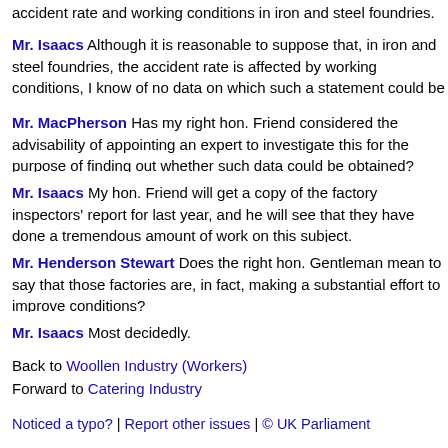accident rate and working conditions in iron and steel foundries.
Mr. Isaacs Although it is reasonable to suppose that, in iron and steel foundries, the accident rate is affected by working conditions, I know of no data on which such a statement could be based.
Mr. MacPherson Has my right hon. Friend considered the advisability of appointing an expert to investigate this for the purpose of finding out whether such data could be obtained?
Mr. Isaacs My hon. Friend will get a copy of the factory inspectors' report for last year, and he will see that they have done a tremendous amount of work on this subject.
Mr. Henderson Stewart Does the right hon. Gentleman mean to say that those factories are, in fact, making a substantial effort to improve conditions?
Mr. Isaacs Most decidedly.
Back to Woollen Industry (Workers)
Forward to Catering Industry
Noticed a typo? | Report other issues | © UK Parliament